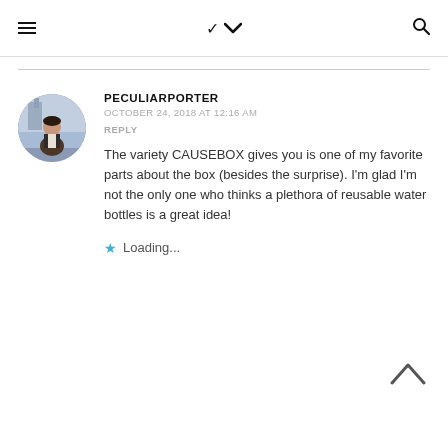≡  ∨  🔍
PECULIARPORTER
OCTOBER 24, 2018 AT 12:16 AM
REPLY
The variety CAUSEBOX gives you is one of my favorite parts about the box (besides the surprise). I'm glad I'm not the only one who thinks a plethora of reusable water bottles is a great idea!
Loading...